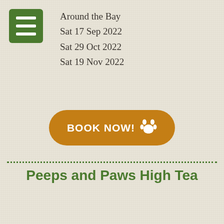[Figure (other): Green hamburger menu icon button in top left corner]
Around the Bay
Sat 17 Sep 2022
Sat 29 Oct 2022
Sat 19 Nov 2022
[Figure (other): Orange rounded button with text BOOK NOW! and a paw print icon]
Peeps and Paws High Tea